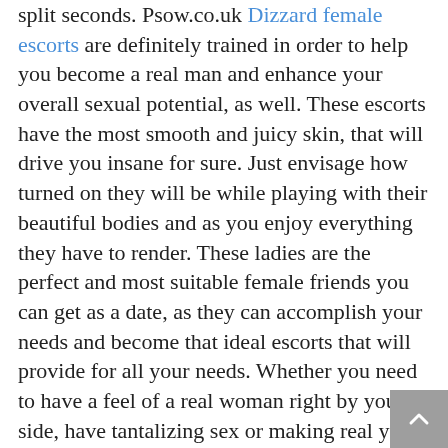split seconds. Psow.co.uk Dizzard female escorts are definitely trained in order to help you become a real man and enhance your overall sexual potential, as well. These escorts have the most smooth and juicy skin, that will drive you insane for sure. Just envisage how turned on they will be while playing with their beautiful bodies and as you enjoy everything they have to render. These ladies are the perfect and most suitable female friends you can get as a date, as they can accomplish your needs and become that ideal escorts that will provide for all your needs. Whether you need to have a feel of a real woman right by your side, have tantalizing sex or making real your fantasies, our Dizzard escorts will do everything humanly possible to arrange for all of these services, from wild sexual intercourse to a soothing erotic massage.